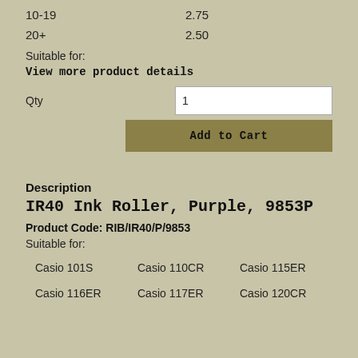| Qty | Price |
| --- | --- |
| 10-19 | 2.75 |
| 20+ | 2.50 |
Suitable for:
View more product details
Qty: 1
Add to Cart
Description
IR40 Ink Roller, Purple, 9853P
Product Code: RIB/IR40/P/9853
Suitable for:
Casio 101S
Casio 110CR
Casio 115ER
Casio 116ER
Casio 117ER
Casio 120CR